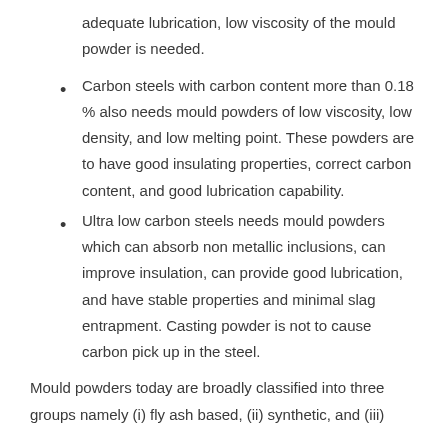adequate lubrication, low viscosity of the mould powder is needed.
Carbon steels with carbon content more than 0.18 % also needs mould powders of low viscosity, low density, and low melting point. These powders are to have good insulating properties, correct carbon content, and good lubrication capability.
Ultra low carbon steels needs mould powders which can absorb non metallic inclusions, can improve insulation, can provide good lubrication, and have stable properties and minimal slag entrapment. Casting powder is not to cause carbon pick up in the steel.
Mould powders today are broadly classified into three groups namely (i) fly ash based, (ii) synthetic, and (iii)